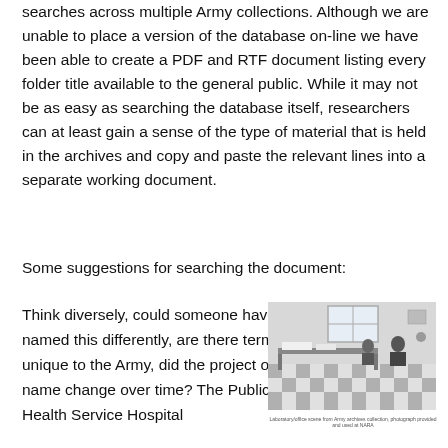searches across multiple Army collections. Although we are unable to place a version of the database on-line we have been able to create a PDF and RTF document listing every folder title available to the general public. While it may not be as easy as searching the database itself, researchers can at least gain a sense of the type of material that is held in the archives and copy and paste the relevant lines into a separate working document.
Some suggestions for searching the document:
Think diversely, could someone have named this differently, are there terms unique to the Army, did the project or site name change over time? The Public Health Service Hospital
[Figure (photo): Black and white photograph of an office interior with desks, papers, and people working, checkerboard floor visible.]